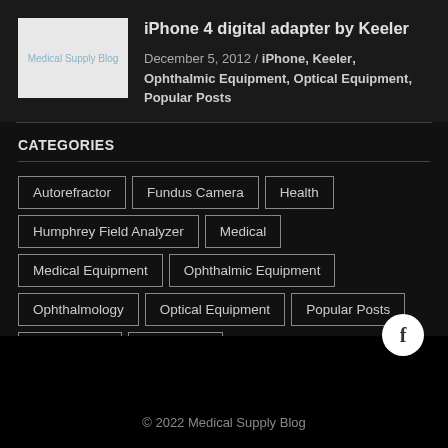[Figure (logo): Medical Supply Blog logo placeholder — light grey box with blue-grey text]
iPhone 4 digital adapter by Keeler
December 5, 2012 / iPhone, Keeler, Ophthalmic Equipment, Optical Equipment, Popular Posts
CATEGORIES
Autorefractor
Fundus Camera
Health
Humphrey Field Analyzer
Medical
Medical Equipment
Ophthalmic Equipment
Ophthalmology
Optical Equipment
Popular Posts
Weight Loss
Well-Being
© 2022 Medical Supply Blog